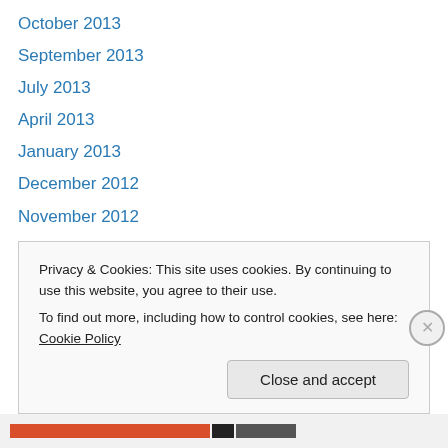October 2013
September 2013
July 2013
April 2013
January 2013
December 2012
November 2012
October 2012
September 2012
May 2012
April 2012
March 2012
February 2012
Privacy & Cookies: This site uses cookies. By continuing to use this website, you agree to their use.
To find out more, including how to control cookies, see here: Cookie Policy